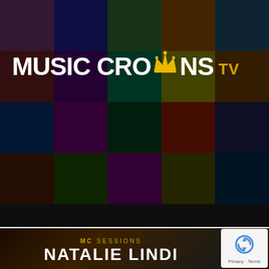[Figure (photo): MUSIC CROWNS TV logo overlaid on a collage grid of colorful photos showing diverse people singing, dancing, and performing under neon/colorful lighting. The logo features bold white capital letters 'MUSIC CRO NS' with a gold crown replacing the 'W', and 'tv' in smaller gold text to the right.]
[Figure (photo): Bottom banner showing 'MC SESSIONS' text in gold above large white bold text 'NATALIE LINDI' partially visible, on a dark warm-toned background with partial view of a performer.]